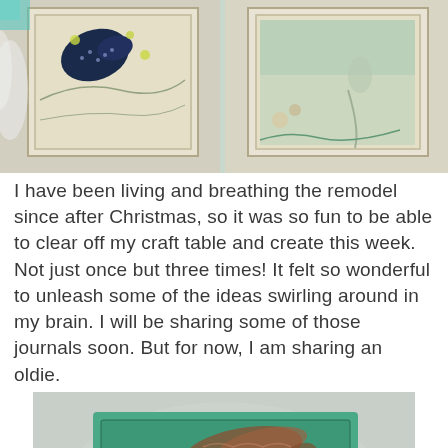[Figure (photo): Close-up photo of handmade art journal pages laid flat, showing two decorated cards/pages with mixed media collage elements including birds, floral patterns, and vintage-style illustrations in teal, navy, and cream tones.]
I have been living and breathing the remodel since after Christmas, so it was so fun to be able to clear off my craft table and create this week. Not just once but three times! It felt so wonderful to unleash some of the ideas swirling around in my brain. I will be sharing some of those journals soon. But for now, I am sharing an oldie.
[Figure (photo): Close-up photo of an art journal page or fabric piece with mixed media artwork featuring a female face, koi fish, flowers, and teal/green background tones in a vintage stamp style.]